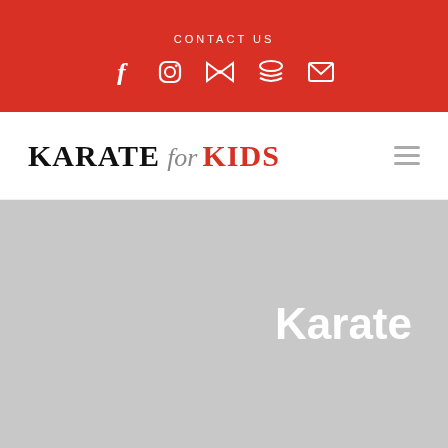CONTACT US
[Figure (illustration): Social media icons: Facebook, Instagram, bowtie/email, stack, and envelope icons in white on red background]
KARATE for KIDS
[Figure (illustration): Hamburger menu icon (three horizontal lines)]
Karate